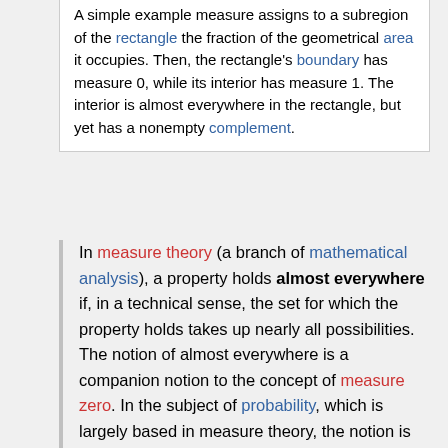A simple example measure assigns to a subregion of the rectangle the fraction of the geometrical area it occupies. Then, the rectangle's boundary has measure 0, while its interior has measure 1. The interior is almost everywhere in the rectangle, but yet has a nonempty complement.
In measure theory (a branch of mathematical analysis), a property holds almost everywhere if, in a technical sense, the set for which the property holds takes up nearly all possibilities. The notion of almost everywhere is a companion notion to the concept of measure zero. In the subject of probability, which is largely based in measure theory, the notion is referred to as almost surely.
More specifically, a property holds almost everywhere if the set of elements for which the property does not hold is a